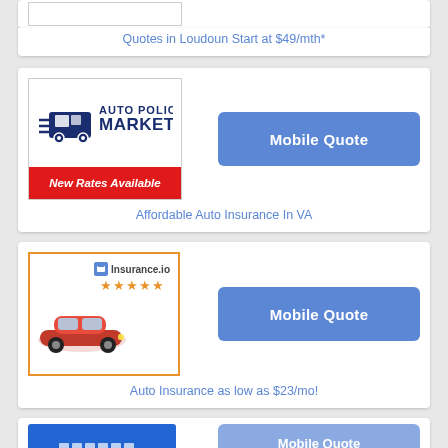[Figure (screenshot): Top partial ad card with a logo box, partially visible.]
Quotes in Loudoun Start at $49/mth*
[Figure (logo): Auto Policy Market logo with dark blue van/car graphic and company name, red bar below reading 'New Rates Available']
[Figure (screenshot): Mobile Quote button (blue rounded rectangle)]
Affordable Auto Insurance In VA
[Figure (logo): Insurance.io logo with red car image and orange star rating, orange-bordered box]
[Figure (screenshot): Mobile Quote button (blue rounded rectangle)]
Auto Insurance as low as $23/mo!
[Figure (screenshot): Bottom partial ad card with blue logo area, partially visible]